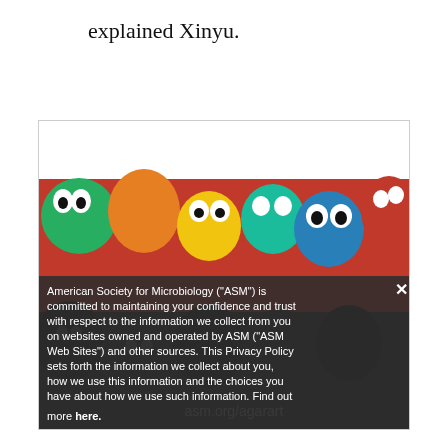explained Xinyu.
[Figure (illustration): Colorful cartoon microbe/agar art illustration with a privacy policy modal overlay. The artwork shows round cartoonish microbe characters in vivid colors (red, orange, yellow, green, blue) with expressive eyes. A semi-transparent dark modal overlay reads: American Society for Microbiology ("ASM") is committed to maintaining your confidence and trust with respect to the information we collect from you on websites owned and operated by ASM ("ASM Web Sites") and other sources. This Privacy Policy sets forth the information we collect about you, how we use this information and the choices you have about how we use such information. Find out more here. An X close button is visible in the upper right of the modal. The text 'asm.org/agarart' appears as a watermark on the artwork.]